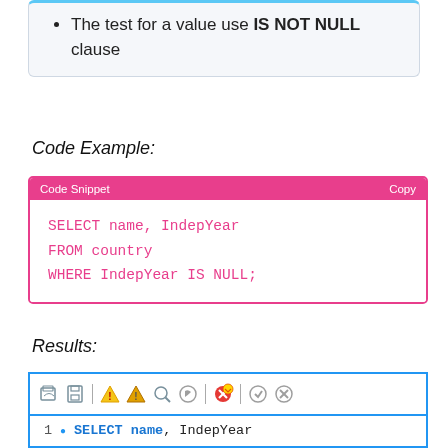The test for a value use IS NOT NULL clause
Code Example:
SELECT name, IndepYear
FROM country
WHERE IndepYear IS NULL;
Results:
[Figure (screenshot): SQL editor toolbar with icons for open, save, execute, stop, search, and other actions, followed by query lines: 1 SELECT name, IndepYear and 2 FROM country]